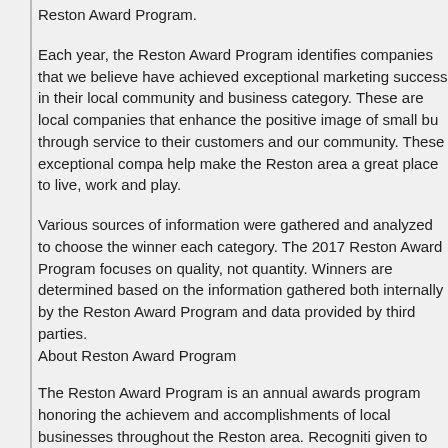Reston Award Program.
Each year, the Reston Award Program identifies companies that we believe have achieved exceptional marketing success in their local community and business category. These are local companies that enhance the positive image of small bu through service to their customers and our community. These exceptional compa help make the Reston area a great place to live, work and play.
Various sources of information were gathered and analyzed to choose the winner each category. The 2017 Reston Award Program focuses on quality, not quantity. Winners are determined based on the information gathered both internally by the Reston Award Program and data provided by third parties.
About Reston Award Program
The Reston Award Program is an annual awards program honoring the achievem and accomplishments of local businesses throughout the Reston area. Recogniti given to those companies that have shown the ability to use their best practices a implemented programs to generate competitive advantages and long-term value. The Reston Award Program was established to recognize the best of local busine in our community. Our organization works exclusively with local business owners trade groups, professional associations and other business advertising and mark groups. Our mission is to recognize the small business community&#39;s contrib the U.S. economy.